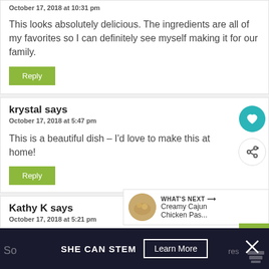October 17, 2018 at 10:31 pm
This looks absolutely delicious. The ingredients are all of my favorites so I can definitely see myself making it for our family.
Reply
krystal says
October 17, 2018 at 5:47 pm
This is a beautiful dish – I'd love to make this at home!
Reply
Kathy K says
October 17, 2018 at 5:21 pm
WHAT'S NEXT → Creamy Cajun Chicken Pas...
SHE CAN STEM  Learn More